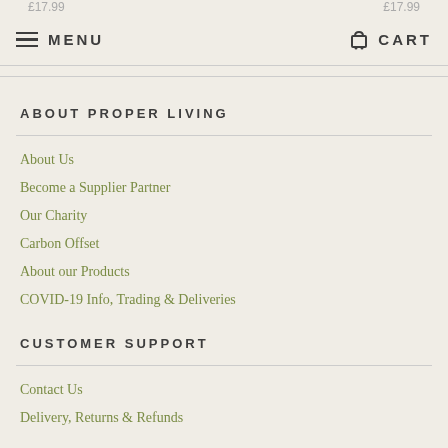MENU   CART
ABOUT PROPER LIVING
About Us
Become a Supplier Partner
Our Charity
Carbon Offset
About our Products
COVID-19 Info, Trading & Deliveries
CUSTOMER SUPPORT
Contact Us
Delivery, Returns & Refunds